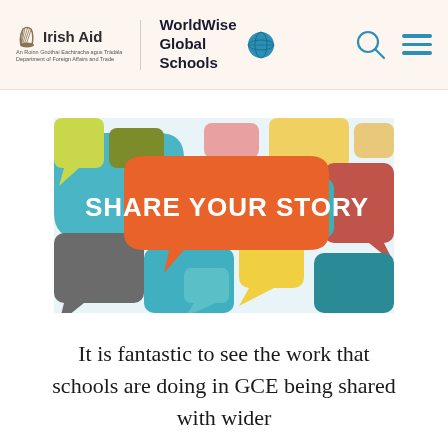Irish Aid | WorldWise Global Schools
[Figure (illustration): Colorful speech bubble collage banner with text 'SHARE YOUR STORY' in white bold letters on an orange speech bubble, surrounded by many overlapping speech bubbles in teal, yellow, green, red, blue, and other colors]
It is fantastic to see the work that schools are doing in GCE being shared with wider